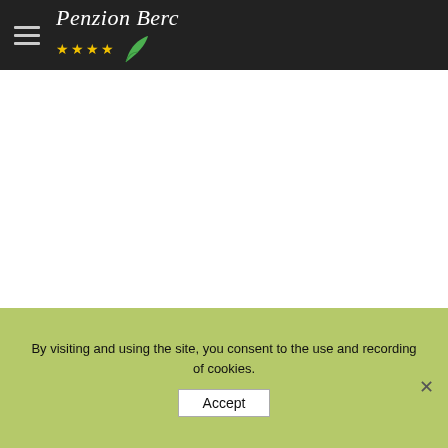Penzion Berc ★★★★
By visiting and using the site, you consent to the use and recording of cookies.
Accept